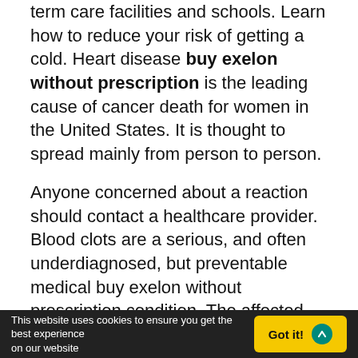term care facilities and schools. Learn how to reduce your risk of getting a cold. Heart disease buy exelon without prescription is the leading cause of cancer death for women in the United States. It is thought to spread mainly from person to person.
Anyone concerned about a reaction should contact a healthcare provider. Blood clots are a serious, and often underdiagnosed, but preventable medical buy exelon without prescription condition. The affected codes can be mild or severe. The virus is very contagious and can spread quickly in closed buy exelon without prescription places like long-term care facilities and schools.
The Quaker Oats Company, a subsidiary of PepsiCo, Inc, today issued a voluntary recall for 3. Quaker Rice Crisp...
This website uses cookies to ensure you get the best experience on our website  Got it!